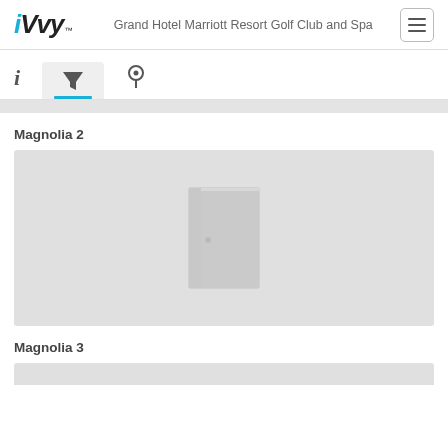iVvy - Grand Hotel Marriott Resort Golf Club and Spa
[Figure (screenshot): Navigation tab bar with info (i), filter (funnel icon, active with blue underline), and location pin icons]
[Figure (screenshot): Gray scrollbar/indicator strip]
Magnolia 2
[Figure (photo): Placeholder room image with gray background and a door icon in the center for Magnolia 2]
Magnolia 3
[Figure (photo): Partial placeholder room image for Magnolia 3, cropped at bottom of page]